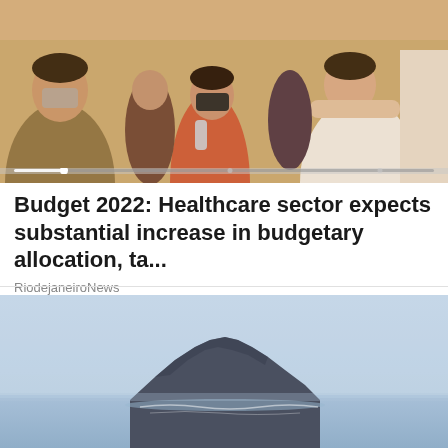[Figure (photo): People including a child wearing a face mask in a crowded indoor setting, with someone appearing to provide medical assistance]
Budget 2022: Healthcare sector expects substantial increase in budgetary allocation, ta...
RiodejaneiroNews
[Figure (photo): A large dark rocky island or mountain rising from calm blue-grey water under a hazy sky]